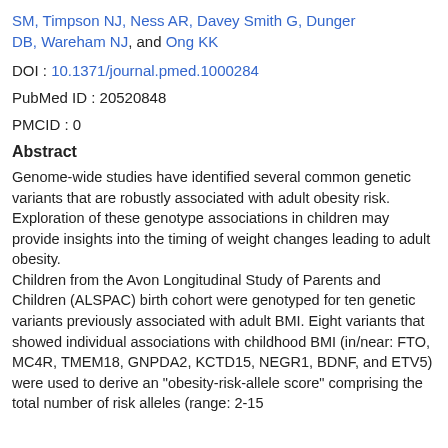SM, Timpson NJ, Ness AR, Davey Smith G, Dunger DB, Wareham NJ, and Ong KK
DOI : 10.1371/journal.pmed.1000284
PubMed ID : 20520848
PMCID : 0
Abstract
Genome-wide studies have identified several common genetic variants that are robustly associated with adult obesity risk. Exploration of these genotype associations in children may provide insights into the timing of weight changes leading to adult obesity.
Children from the Avon Longitudinal Study of Parents and Children (ALSPAC) birth cohort were genotyped for ten genetic variants previously associated with adult BMI. Eight variants that showed individual associations with childhood BMI (in/near: FTO, MC4R, TMEM18, GNPDA2, KCTD15, NEGR1, BDNF, and ETV5) were used to derive an "obesity-risk-allele score" comprising the total number of risk alleles (range: 2-15